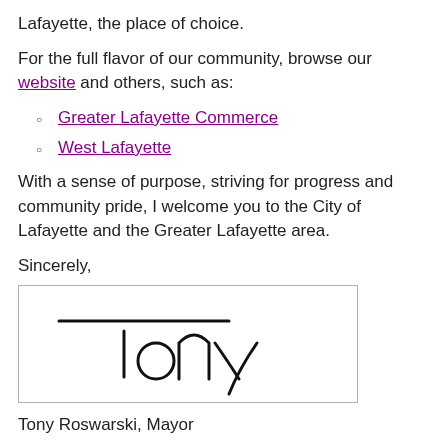Lafayette, the place of choice.
For the full flavor of our community, browse our website and others, such as:
Greater Lafayette Commerce
West Lafayette
With a sense of purpose, striving for progress and community pride, I welcome you to the City of Lafayette and the Greater Lafayette area.
Sincerely,
[Figure (other): Handwritten signature reading 'Tony' with a line above]
Tony Roswarski, Mayor